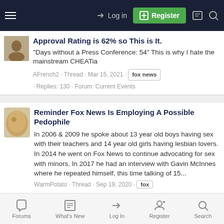Log in | Register
Approval Rating is 62% so This is It.
"Days without a Press Conference: 54" This is why I hate the mainstream CHEATia
AFrench2 · Thread · Mar 15, 2021 · fox news · Replies: 130 · Forum: Current Events
Reminder Fox News Is Employing A Possible Pedophile
In 2006 & 2009 he spoke about 13 year old boys having sex with their teachers and 14 year old girls having lesbian lovers. In 2014 he went on Fox News to continue advocating for sex with minors. In 2017 he had an interview with Gavin McInnes where he repeated himself, this time talking of 15...
WarmPotato · Thread · Sep 19, 2020 · fox
Forums | What's New | Log In | Register | Search